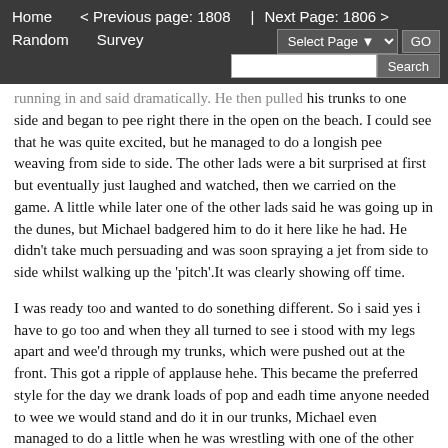Home   < Previous page: 1808  |  Next Page: 1806 >  Random  Survey  Select Page  GO  Search
running in and said dramatically. He then pulled his trunks to one side and began to pee right there in the open on the beach. I could see that he was quite excited, but he managed to do a longish pee weaving from side to side. The other lads were a bit surprised at first but eventually just laughed and watched, then we carried on the game. A little while later one of the other lads said he was going up in the dunes, but Michael badgered him to do it here like he had. He didn't take much persuading and was soon spraying a jet from side to side whilst walking up the 'pitch'.It was clearly showing off time.
I was ready too and wanted to do sonething different. So i said yes i have to go too and when they all turned to see i stood with my legs apart and wee'd through my trunks, which were pushed out at the front. This got a ripple of applause hehe. This became the preferred style for the day we drank loads of pop and eadh time anyone needed to wee we would stand and do it in our trunks, Michael even managed to do a little when he was wrestling with one of the other guys and was sat across his belly.